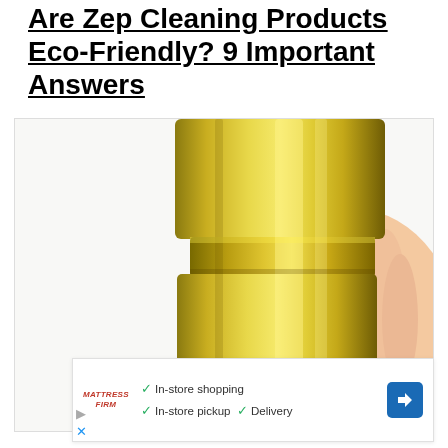Are Zep Cleaning Products Eco-Friendly? 9 Important Answers
[Figure (photo): A hand holding a gold/brass colored insulated tumbler cup against a white background.]
[Figure (other): Advertisement banner: Mattress Firm ad showing checkmarks for In-store shopping, In-store pickup, and Delivery, with a blue navigation arrow icon on the right.]